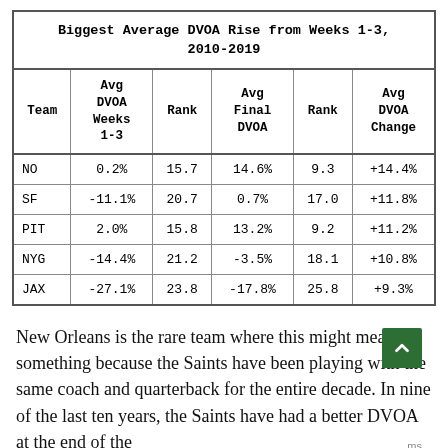| Team | Avg DVOA Weeks 1-3 | Rank | Avg Final DVOA | Rank | Avg DVOA Change |
| --- | --- | --- | --- | --- | --- |
| NO | 0.2% | 15.7 | 14.6% | 9.3 | +14.4% |
| SF | -11.1% | 20.7 | 0.7% | 17.0 | +11.8% |
| PIT | 2.0% | 15.8 | 13.2% | 9.2 | +11.2% |
| NYG | -14.4% | 21.2 | -3.5% | 18.1 | +10.8% |
| JAX | -27.1% | 23.8 | -17.8% | 25.8 | +9.3% |
New Orleans is the rare team where this might mean something because the Saints have been playing with the same coach and quarterback for the entire decade. In nine of the last ten years, the Saints have had a better DVOA at the end of the